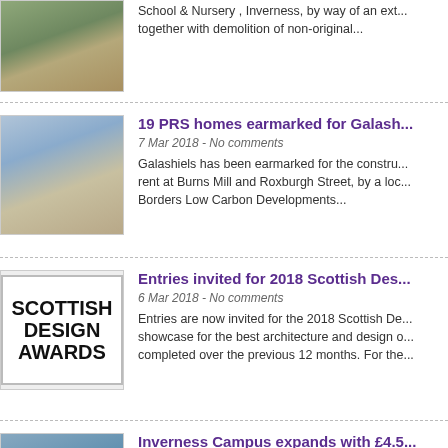[Figure (photo): Partial view of a stone building with greenery, bicycle visible]
School & Nursery , Inverness, by way of an ext... together with demolition of non-original...
[Figure (photo): Modern residential apartment building with landscaping]
19 PRS homes earmarked for Galash...
7 Mar 2018 - No comments
Galashiels has been earmarked for the constru... rent at Burns Mill and Roxburgh Street, by a loc... Borders Low Carbon Developments...
[Figure (logo): Scottish Design Awards logo — bold black text on white background]
Entries invited for 2018 Scottish Des...
6 Mar 2018 - No comments
Entries are now invited for the 2018 Scottish De... showcase for the best architecture and design o... completed over the previous 12 months. For the...
[Figure (photo): Modern dark-clad campus building exterior]
Inverness Campus expands with £4.5...
6 Mar 2018 - No comments
Inverness Campus is set for further growth with... Construction by Highlands and Islands Enterpri... building. Solasta House has...